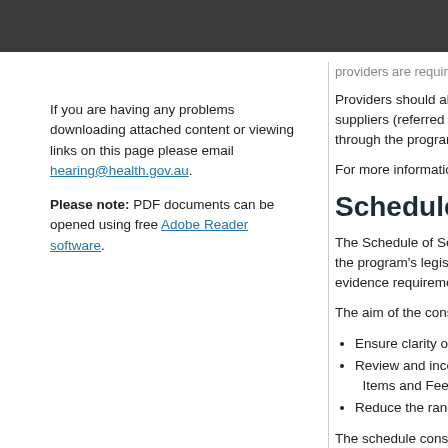providers are required to...
If you are having any problems downloading attached content or viewing links on this page please email hearing@health.gov.au.
Please note: PDF documents can be opened using free Adobe Reader software.
Providers should also be... suppliers (referred to as A... through the program to pr...
For more information on t...
Schedule of S...
The Schedule of Service... the program's legislation... evidence requirements ar...
The aim of the consolidat...
Ensure clarity of the p...
Review and incorpora... Items and Fees with...
Reduce the range of...
The schedule consists of...
The Schedule of Services... Legislation.
Please access the schedu...